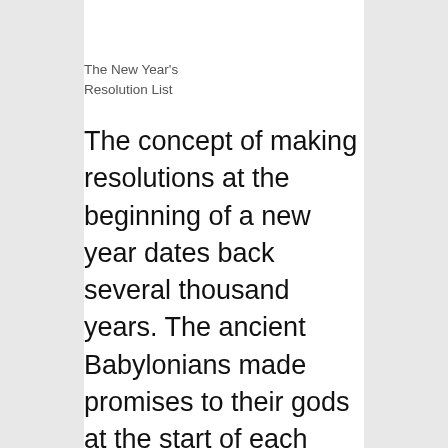The New Year’s Resolution List
The concept of making resolutions at the beginning of a new year dates back several thousand years. The ancient Babylonians made promises to their gods at the start of each year to return borrowed objects and pay their debts. The Romans started each year by making